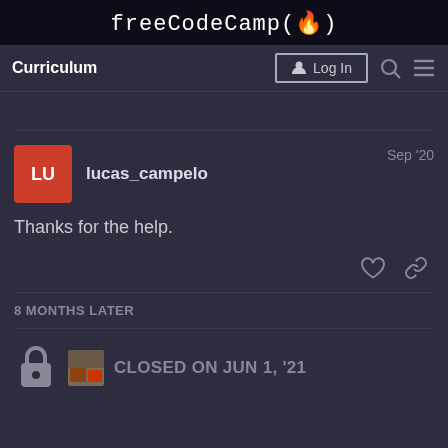freeCodeCamp(🔥)
Curriculum  Log In
lucas_campelo  Sep '20
Thanks for the help.
8 MONTHS LATER
CLOSED ON JUN 1, '21